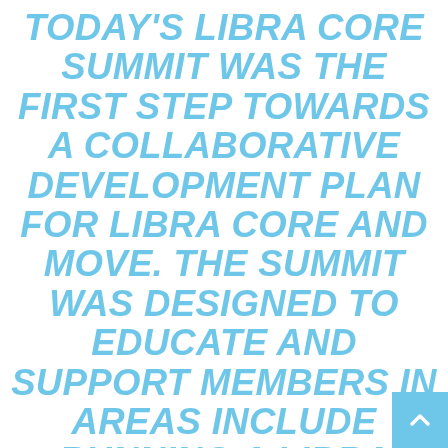TODAY'S LIBRA CORE SUMMIT WAS THE FIRST STEP TOWARDS A COLLABORATIVE DEVELOPMENT PLAN FOR LIBRA CORE AND MOVE. THE SUMMIT WAS DESIGNED TO EDUCATE AND SUPPORT MEMBERS IN AREAS INCLUDE RUNNING A LIBRA NODE, BUILDING A LIBRA WALLET, SCALING THE LIBRA NETWORK AND INTEROPERABILITY BETWEEN LIBRA WALLET. THERE ARE MANY FACETS OF THE LIBRA PROJECT THAT ARE WORKING IN TANDEM. THE LIBRA ASSOCIATION EXECUTIVE LEADERSHIP TEAM IS CONTINUING THE CRITICAL WORK